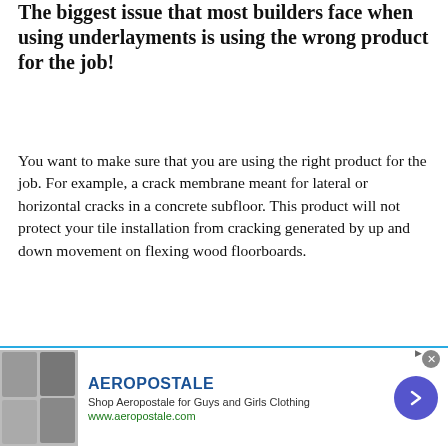The biggest issue that most builders face when using underlayments is using the wrong product for the job!
You want to make sure that you are using the right product for the job. For example, a crack membrane meant for lateral or horizontal cracks in a concrete subfloor. This product will not protect your tile installation from cracking generated by up and down movement on flexing wood floorboards.
To solve this problem, install an underlayment first and then finish with another type of sealant before applying
[Figure (screenshot): Video player overlay showing 'No compatible source was found for this media.' message on a grey semi-transparent background with a close button]
[Figure (infographic): Advertisement banner for Aeropostale showing brand name, description 'Shop Aeropostale for Guys and Girls Clothing', URL www.aeropostale.com, clothing images on the left, and a blue arrow navigation button on the right]